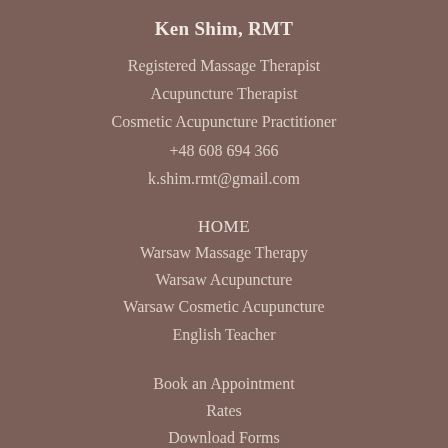Ken Shim, RMT
Registered Massage Therapist
Acupuncture Therapist
Cosmetic Acupuncture Practitioner
+48 608 694 366
k.shim.rmt@gmail.com
HOME
Warsaw Massage Therapy
Warsaw Acupuncture
Warsaw Cosmetic Acupuncture
English Teacher
Book an Appointment
Rates
Download Forms